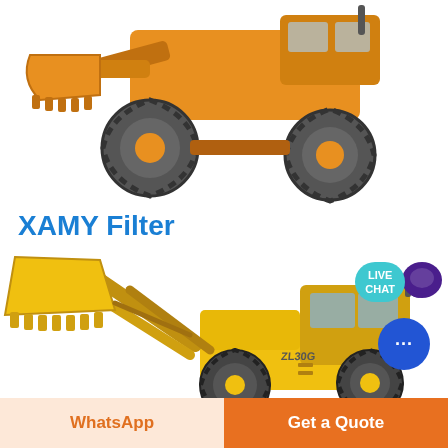[Figure (photo): Orange/yellow large wheel loader machine, partial view showing front wheels and body, top portion of page]
[Figure (illustration): LIVE CHAT speech bubble icon in teal/cyan with purple chat bubble beside it, top right corner]
XAMY Filter
[Figure (photo): Yellow wheel loader machine (ZL30G model) with raised bucket/scoop, large construction equipment shown from front-left angle]
[Figure (other): Blue circular chat button with three dots (message icon), bottom right]
WhatsApp
Get a Quote